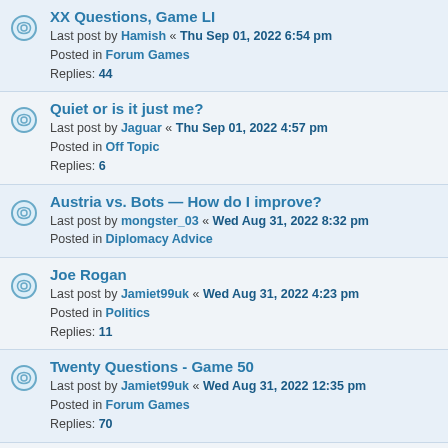XX Questions, Game LI
Last post by Hamish « Thu Sep 01, 2022 6:54 pm
Posted in Forum Games
Replies: 44
Quiet or is it just me?
Last post by Jaguar « Thu Sep 01, 2022 4:57 pm
Posted in Off Topic
Replies: 6
Austria vs. Bots — How do I improve?
Last post by mongster_03 « Wed Aug 31, 2022 8:32 pm
Posted in Diplomacy Advice
Joe Rogan
Last post by Jamiet99uk « Wed Aug 31, 2022 4:23 pm
Posted in Politics
Replies: 11
Twenty Questions - Game 50
Last post by Jamiet99uk « Wed Aug 31, 2022 12:35 pm
Posted in Forum Games
Replies: 70
Gunboat GR List - GR 101 and above
Last post by Doug7878 « Wed Aug 31, 2022 9:07 am
Posted in Off Topic
Replies: 109